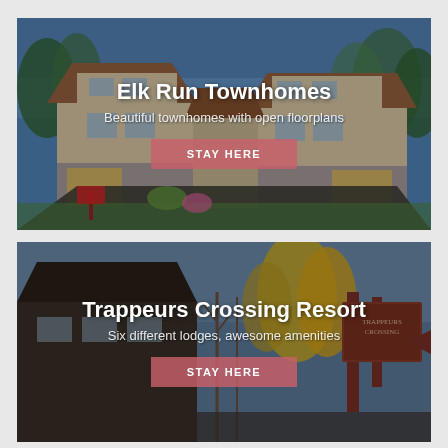[Figure (photo): Exterior photo of Elk Run Townhomes — multi-unit wood and stone townhomes with garages, green lawns, and blue sky with trees in background]
Elk Run Townhomes
Beautiful townhomes with open floorplans
STAY HERE
[Figure (photo): Exterior photo of Trappeurs Crossing Resort — entrance sign reading TRAPPEURS CROSSING with lodge buildings, autumn trees, and blue sky in background]
Trappeurs Crossing Resort
Six different lodges, awesome amenities
STAY HERE